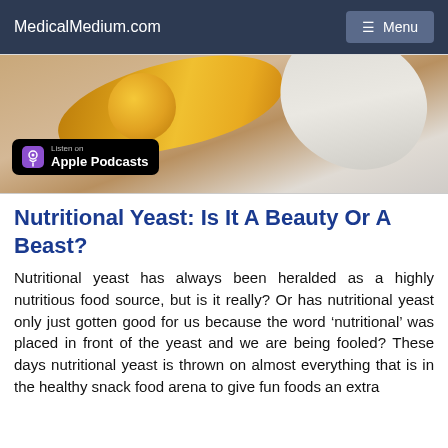MedicalMedium.com
[Figure (photo): Banner image showing nutritional yeast or food items with golden and beige tones, with an Apple Podcasts badge in the bottom left corner.]
Nutritional Yeast: Is It A Beauty Or A Beast?
Nutritional yeast has always been heralded as a highly nutritious food source, but is it really? Or has nutritional yeast only just gotten good for us because the word ‘nutritional’ was placed in front of the yeast and we are being fooled? These days nutritional yeast is thrown on almost everything that is in the healthy snack food arena to give fun foods an extra